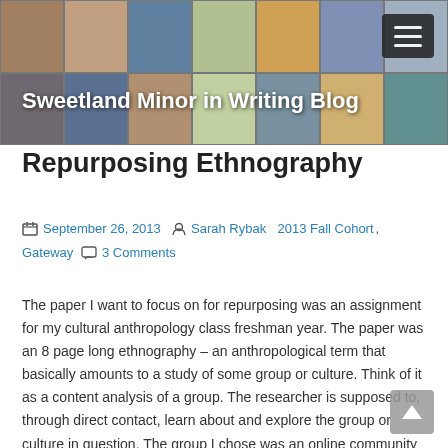[Figure (photo): Header mosaic of thumbnail photos forming a collage banner background with blog title overlay]
Sweetland Minor in Writing Blog
Repurposing Ethnography
September 26, 2013  Sarah Rybak  2013 Fall Cohort, Gateway  3 Comments
The paper I want to focus on for repurposing was an assignment for my cultural anthropology class freshman year. The paper was an 8 page long ethnography – an anthropological term that basically amounts to a study of some group or culture. Think of it as a content analysis of a group. The researcher is supposed to, through direct contact, learn about and explore the group or culture in question. The group I chose was an online community called Nerdfighteria that was formed...